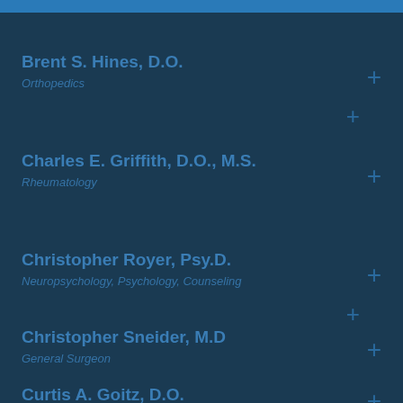Brent S. Hines, D.O. — Orthopedics
Charles E. Griffith, D.O., M.S. — Rheumatology
Christopher Royer, Psy.D. — Neuropsychology, Psychology, Counseling
Christopher Sneider, M.D — General Surgeon
Curtis A. Goitz, D.O.